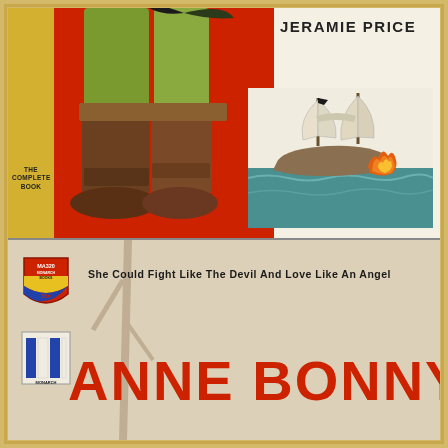[Figure (illustration): Top half: vintage book cover with pirate figure (legs/boots visible) against red background with yellow left strip. Author name 'JERAMIE PRICE' at top right. Sailing ship on fire on ocean at right side. Text 'THE COMPLETE BOOK' on yellow strip.]
JERAMIE PRICE
THE COMPLETE BOOK
[Figure (illustration): Bottom half: Monarch Books paperback cover MA320, 35 cents. Subtitle: 'She Could Fight Like The Devil And Love Like An Angel'. Large red title text 'ANNE BONNY' partially visible. Monarch Books shield logo and column logo visible at left.]
MA320
She Could Fight Like The Devil And Love Like An Angel
ANNE BONNY